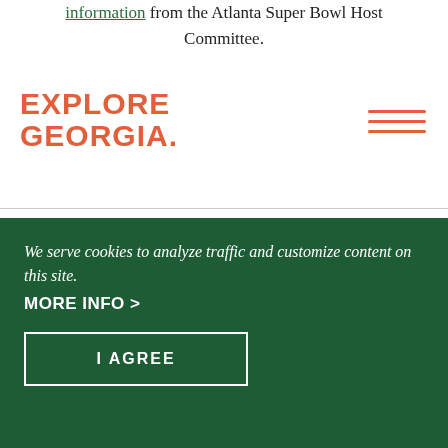information from the Atlanta Super Bowl Host Committee.
[Figure (logo): Explore Georgia logo in salmon/coral color]
Follow Explore Georgia on social media for the latest updates:
Twitter | Instagram | Facebook
In town for the big game? Let us know what you're up to
We serve cookies to analyze traffic and customize content on this site.
MORE INFO >
I AGREE